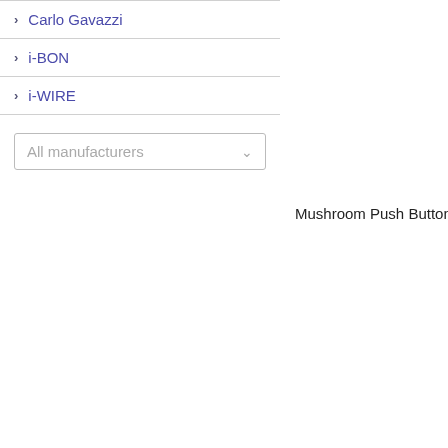> Carlo Gavazzi
> i-BON
> i-WIRE
All manufacturers
[Figure (other): Product image placeholder box (top)]
Mushroom Push Button
[Figure (other): Product image placeholder box (bottom)]